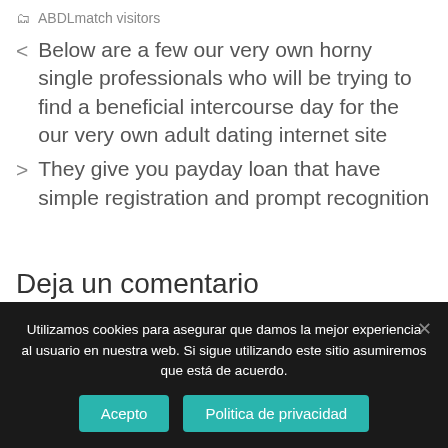ABDLmatch visitors
< Below are a few our very own horny single professionals who will be trying to find a beneficial intercourse day for the our very own adult dating internet site
> They give you payday loan that have simple registration and prompt recognition
Deja un comentario
Utilizamos cookies para asegurar que damos la mejor experiencia al usuario en nuestra web. Si sigue utilizando este sitio asumiremos que está de acuerdo.
Acepto | Politica de privacidad